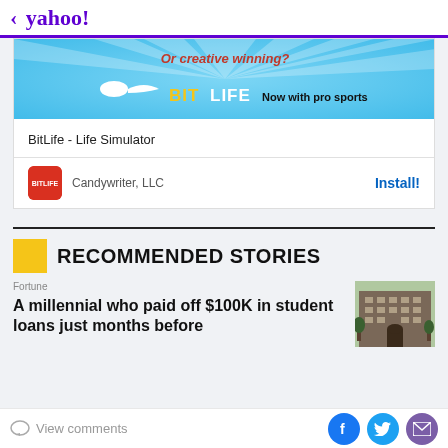< yahoo!
[Figure (screenshot): BitLife app advertisement banner — blue background with rays, red text 'Or creative winning?', sperm icon, yellow BitLife logo, 'Now with pro sports' text]
BitLife - Life Simulator
Candywriter, LLC    Install!
RECOMMENDED STORIES
Fortune
A millennial who paid off $100K in student loans just months before
View comments  [Facebook] [Twitter] [Mail]